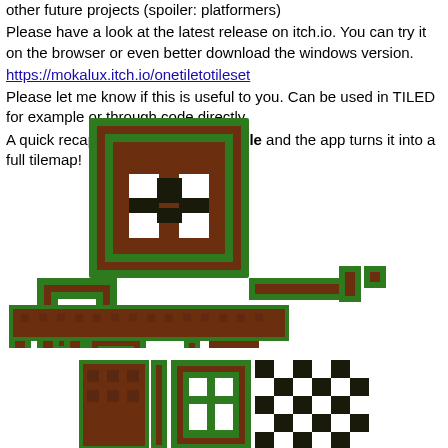other future projects (spoiler: platformers)
Please have a look at the latest release on itch.io. You can try it on the browser or even better download the windows version.
https://mokalux.itch.io/onetiletotileset
Please let me know if this is useful to you. Can be used in TILED for example or through code directly.
A quick recap: you draw only one tile and the app turns it into a full tilemap!
[Figure (illustration): Pixel art tilemap illustration showing green and brown tile patterns arranged in a decorative layout — a large square tile with cross pattern at top, smaller tiles and connector pieces in rows below, forming a platformer-style tileset display.]
[Figure (illustration): Partial pixel art tilemap illustration at bottom, showing more green and brown tile patterns, partially cropped.]